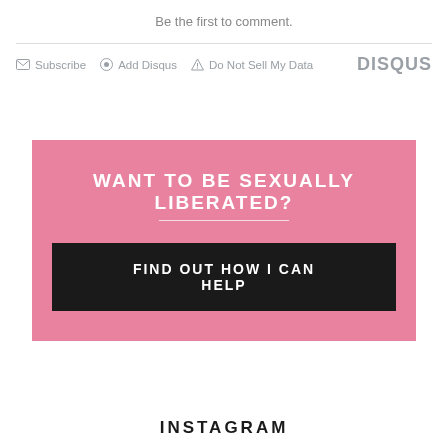Be the first to comment.
Subscribe  Add Disqus  Do Not Sell My Data  DISQUS
[Figure (infographic): Pink banner advertisement with headline 'WANT TO BE SEXUALLY LIBERATED?' and a black call-to-action button 'FIND OUT HOW I CAN HELP']
INSTAGRAM